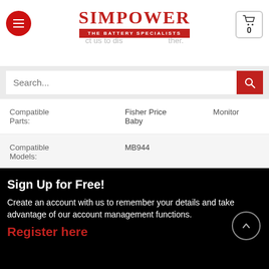SIMPOWER THE BATTERY SPECIALISTS
| Compatible Parts: | Fisher Price Baby | Monitor |
| Compatible Models: | MB944 |  |
Sign Up for Free!
Create an account with us to remember your details and take advantage of our account management functions.
Register here